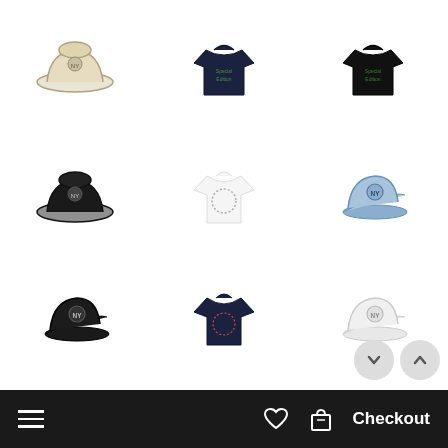[Figure (screenshot): E-commerce product grid showing 9 fashion items in 3 columns and 3 rows: Row 1: beige bucket hat, dark navy graphic tee, black graphic tee; Row 2: black bucket hat, white graphic tee, light blue baseball cap; Row 3: dark navy baseball cap, navy graphic tee, white baseball cap. Navigation down/up chevron buttons visible bottom-right. Bottom black navigation bar with hamburger menu, heart icon, bag icon, and Checkout button.]